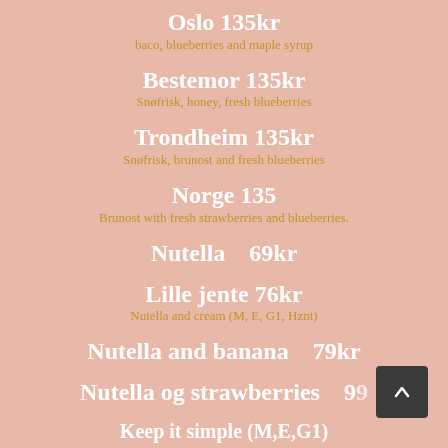Oslo 135kr
baco, blueberries and maple syrup
Bestemor 135kr
Snøfrisk, honey, fresh blueberries
Trondheim 135kr
Snøfrisk, brunost and fresh blueberries
Norge 135
Brunost with fresh strawberries and blueberries.
Nutella   69kr
Lille jente 76kr
Nutella and cream (M, E, G1, Hznt)
Nutella and banana   79kr
Nutella og strawberries   99
Keep it simple (M,E,G1)